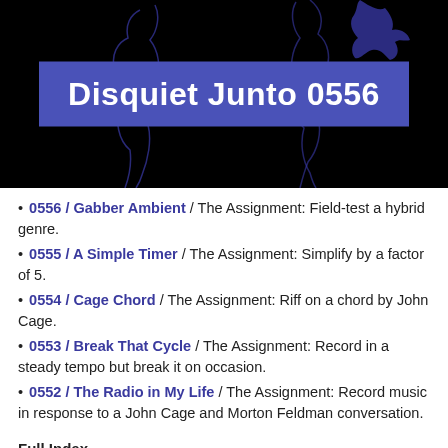[Figure (illustration): Black background banner image with blue silhouette figure outlines and a centered purple/blue rectangle containing the text 'Disquiet Junto 0556' in large white bold font.]
0556 / Gabber Ambient / The Assignment: Field-test a hybrid genre.
0555 / A Simple Timer / The Assignment: Simplify by a factor of 5.
0554 / Cage Chord / The Assignment: Riff on a chord by John Cage.
0553 / Break That Cycle / The Assignment: Record in a steady tempo but break it on occasion.
0552 / The Radio in My Life / The Assignment: Record music in response to a John Cage and Morton Feldman conversation.
Full Index
And there is a complete list of past projects, 556 consecutive weeks to date.
archives